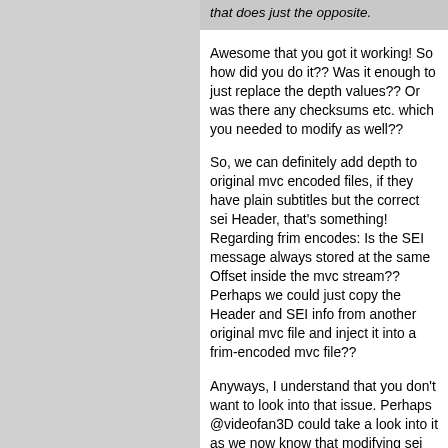that does just the opposite.
Awesome that you got it working! So how did you do it?? Was it enough to just replace the depth values?? Or was there any checksums etc. which you needed to modify as well??
So, we can definitely add depth to original mvc encoded files, if they have plain subtitles but the correct sei Header, that's something! Regarding frim encodes: Is the SEI message always stored at the same Offset inside the mvc stream?? Perhaps we could just copy the Header and SEI info from another original mvc file and inject it into a frim-encoded mvc file??
Anyways, I understand that you don't want to look into that issue. Perhaps @videofan3D could take a look into it as we now know that modifying sei message values is definitely possible?? It should be possible to let FRIM insert them correctly as well (or Keep the original depth values intact)! This would be awesome, because it's